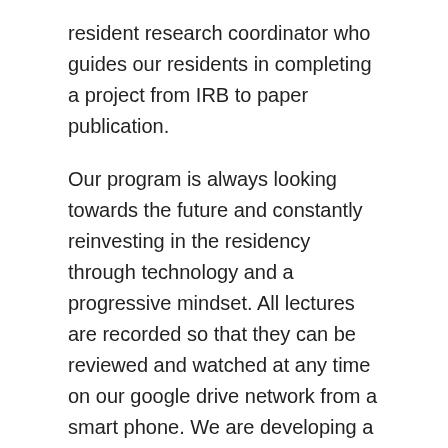resident research coordinator who guides our residents in completing a project from IRB to paper publication.
Our program is always looking towards the future and constantly reinvesting in the residency through technology and a progressive mindset. All lectures are recorded so that they can be reviewed and watched at any time on our google drive network from a smart phone. We are developing a telemedicine program with our emergency room to improve both patient care and the educational experience of our residents. We also have a Mind & Body Wellness Program that covers topics ranging from finance basics, mental health, physical wellness, and other personal development topics that can be reviewed during protected lecture time.